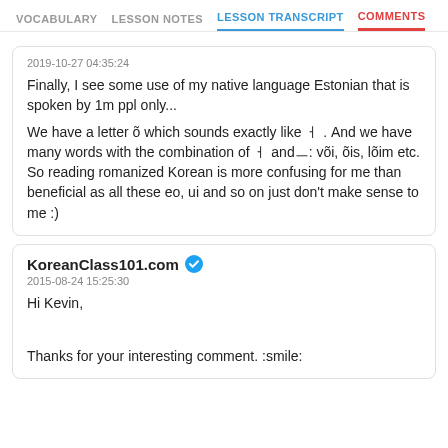VOCABULARY  LESSON NOTES  LESSON TRANSCRIPT  COMMENTS
2019-10-27 04:35:24
Finally, I see some use of my native language Estonian that is spoken by 1m ppl only...

We have a letter õ which sounds exactly like ㅓ . And we have many words with the combination of ㅓ andㅡ: või, õis, lõim etc. So reading romanized Korean is more confusing for me than beneficial as all these eo, ui and so on just don't make sense to me :)
KoreanClass101.com
2015-08-24 15:25:30
Hi Kevin,

Thanks for your interesting comment. :smile: